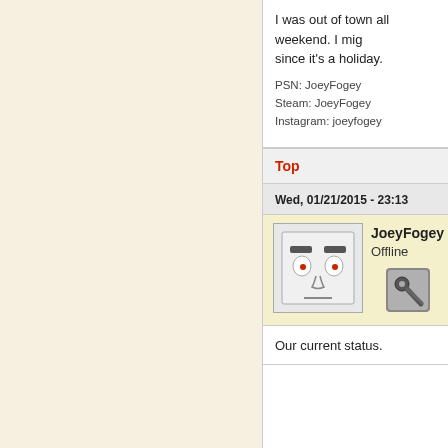I was out of town all weekend. I mig since it's a holiday.
PSN: JoeyFogey
Steam: JoeyFogey
Instagram: joeyfogey
Top
Wed, 01/21/2015 - 23:13
[Figure (illustration): User avatar showing a cartoon face with heavy eyebrows and neutral expression]
JoeyFogey Offline
[Figure (screenshot): Settings/wrench icon button]
Our current status.
732794 F  7 A